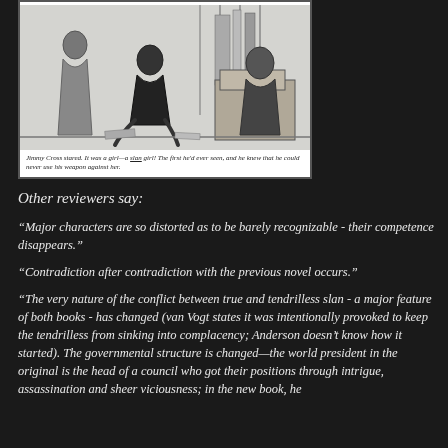[Figure (illustration): Black and white illustration of a figure kneeling before seated figures, with caption below reading: Jimmy Cross stared. It was a girl—a slan girl! The first he'd ever seen, and he knew that he could never use his weapon against her.]
Jimmy Cross stared. It was a girl—a slan girl! The first he'd ever seen, and he knew that he could never use his weapon against her.
Other reviewers say:
“Major characters are so distorted as to be barely recognizable - their competence disappears.”
“Contradiction after contradiction with the previous novel occurs.”
“The very nature of the conflict between true and tendrilless slan - a major feature of both books - has changed (van Vogt states it was intentionally provoked to keep the tendrilless from sinking into complacency; Anderson doesn’t know how it started). The governmental structure is changed—the world president in the original is the head of a council who got their positions through intrigue, assassination and sheer viciousness; in the new book, he